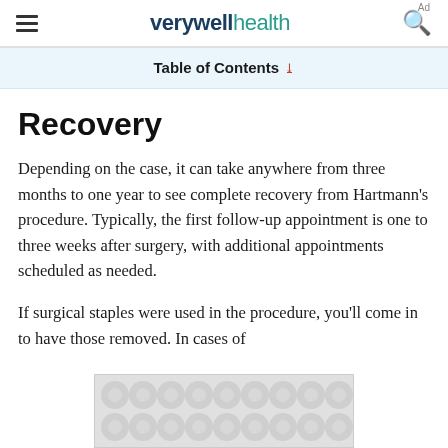verywell health
Table of Contents
Recovery
Depending on the case, it can take anywhere from three months to one year to see complete recovery from Hartmann’s procedure. Typically, the first follow-up appointment is one to three weeks after surgery, with additional appointments scheduled as needed.
If surgical staples were used in the procedure, you’ll come in to have those removed. In cases of
[Figure (other): Advertisement placeholder with grey bubble/circle pattern background]